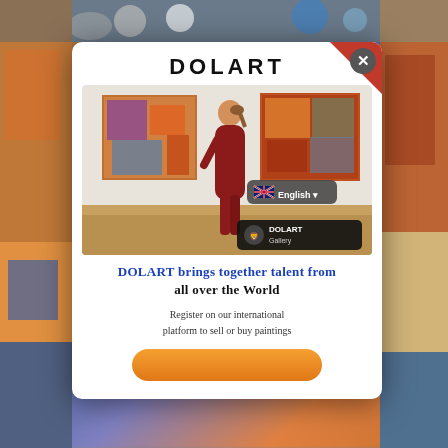DOLART
[Figure (photo): Woman in red dress standing in an art gallery with two abstract paintings on the white wall behind her. DOLART Gallery badge in bottom left corner. English language selector badge in bottom right area.]
DOLART brings together talent from all over the World
Register on our international platform to sell or buy paintings